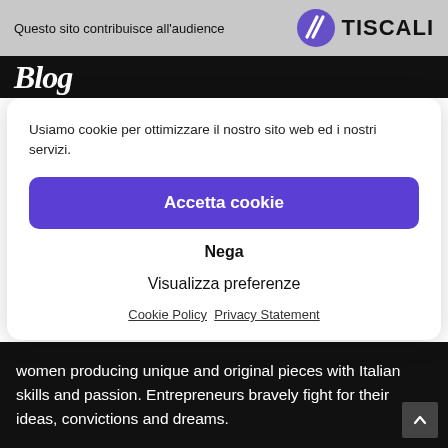Questo sito contribuisce all'audience   TISCALI
Blog
Usiamo cookie per ottimizzare il nostro sito web ed i nostri servizi.
Accetta cookie
Nega
Visualizza preferenze
Cookie Policy   Privacy Statement
women producing unique and original pieces with Italian skills and passion. Entrepreneurs bravely fight for their ideas, convictions and dreams.